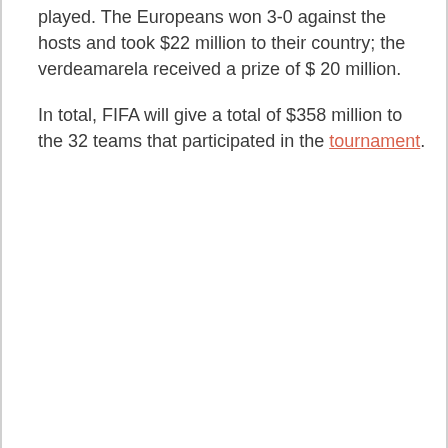played. The Europeans won 3-0 against the hosts and took $22 million to their country; the verdeamarela received a prize of $ 20 million.
In total, FIFA will give a total of $358 million to the 32 teams that participated in the tournament.